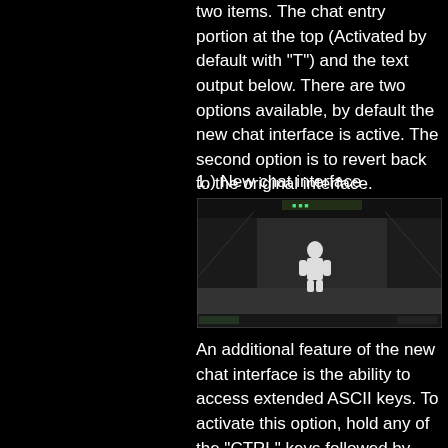two items. The chat entry portion at the top (Activated by default with "T") and the text output below. There are two options available, by default the new chat interface is active. The second option is to revert back to the original interface.
1.) New chat interface
[Figure (screenshot): Screenshot of a video game showing a white humanoid figure/character in a dark corridor environment, with a green HUD element visible at the top.]
An additional feature of the new chat interface is the ability to access extended ASCII keys. To activate this option, hold any of the "CTRL" keys followed by pressing any numbers between 0-9 or other letter characters. When active, the